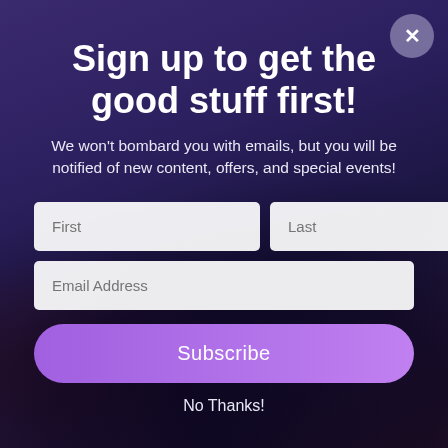Sign up to get the good stuff first!
We won't bombard you with emails, but you will be notified of new content, offers, and special events!
[Figure (screenshot): Email signup form with First, Last, and Email Address input fields, a purple Subscribe button, and a No Thanks link, overlaid on a dark concert crowd background with a close (×) button in the top right.]